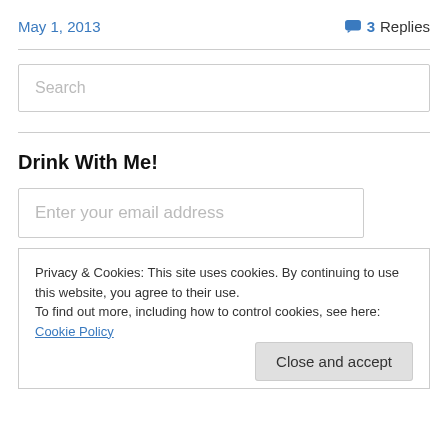May 1, 2013
3 Replies
Search
Drink With Me!
Enter your email address
Privacy & Cookies: This site uses cookies. By continuing to use this website, you agree to their use.
To find out more, including how to control cookies, see here: Cookie Policy
Close and accept